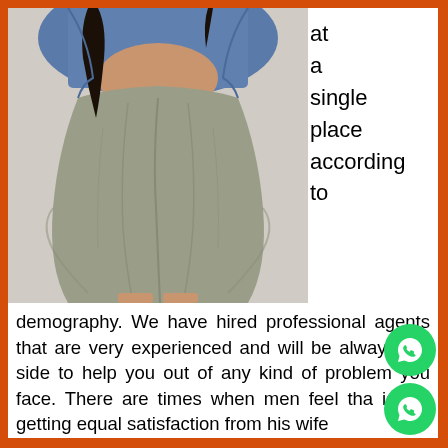[Figure (photo): Photo of a woman in a tight olive/grey bodycon dress and denim jacket, leaning against a textured white wall. Her face is not visible (cropped at the shoulders).]
at a single place according to
demography. We have hired professional agents that are very experienced and will be always your side to help you out of any kind of problem you face. There are times when men feel that is not getting equal satisfaction from his wife